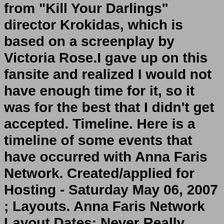from "Kill Your Darlings" director Krokidas, which is based on a screenplay by Victoria Rose.I gave up on this fansite and realized I would not have enough time for it, so it was for the best that I didn't get accepted. Timeline. Here is a timeline of some events that have occurred with Anna Faris Network. Created/applied for Hosting - Saturday May 06, 2007 ; Layouts. Anna Faris Network Layout Dates: Never Really OpenedJan 08, 2022 · Image Credit: BACKGRID. Anna Faris was spotted at Starbucks with her son Jack, 9! The mother-son duo were seen in the rare photos on Friday, Jan. 7 as they exited a Los Angeles location for the ... This Anna Faris foto contains medias, leotardos, and collants. There might also be las piernas desnudas, pantimedias, pantalones ajustados, ceñido, piernas desnudas ... 6 bedroom houses for rent toowoomba Anna @ 8th Annual Best In Drag Show 16971578. This Anna Faris fotografia contains traje de passeio, terno de negócio, bem vestido pessoa, terno, calças de terno, terninho, pessoa bem vestida, terno das calças, pantsuit, terno de calça